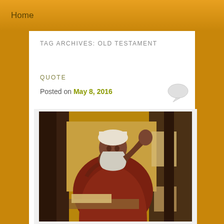Home
TAG ARCHIVES: OLD TESTAMENT
QUOTE
Posted on May 8, 2016
[Figure (illustration): A painting of an elderly bearded man wearing a white turban and red robes, raising one hand, set against an interior background with architectural elements and scrolls or tablets.]